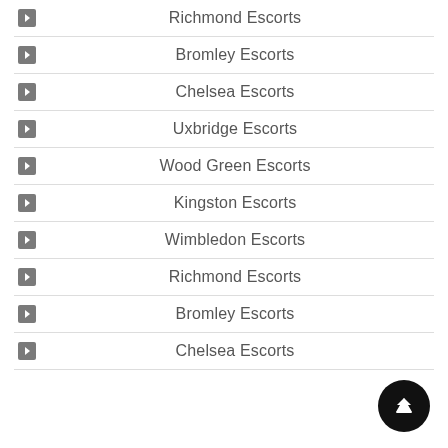Richmond Escorts
Bromley Escorts
Chelsea Escorts
Uxbridge Escorts
Wood Green Escorts
Kingston Escorts
Wimbledon Escorts
Richmond Escorts
Bromley Escorts
Chelsea Escorts